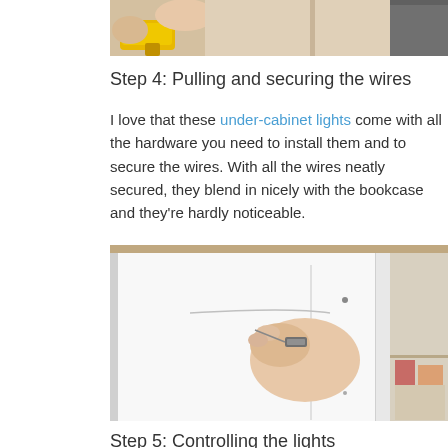[Figure (photo): Top portion of a photo showing a person using a power drill near a wall or cabinet, partially cropped.]
Step 4: Pulling and securing the wires
I love that these under-cabinet lights come with all the hardware you need to install them and to secure the wires. With all the wires neatly secured, they blend in nicely with the bookcase and they're hardly noticeable.
[Figure (photo): A hand securing a wire or connector into the underside of a white cabinet/bookcase shelf. The image shows a close-up of someone installing under-cabinet lighting hardware. Watermark reads engineeryourspace.com]
Step 5: Controlling the lights